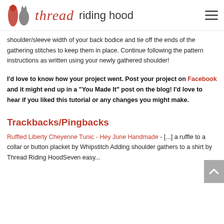thread riding hood
shoulder/sleeve width of your back bodice and tie off the ends of the gathering stitches to keep them in place. Continue following the pattern instructions as written using your newly gathered shoulder!
I'd love to know how your project went. Post your project on Facebook and it might end up in a "You Made It" post on the blog! I'd love to hear if you liked this tutorial or any changes you might make.
Trackbacks/Pingbacks
Ruffled Liberty Cheyenne Tunic - Hey June Handmade - [...] a ruffle to a collar or button placket by Whipstitch Adding shoulder gathers to a shirt by Thread Riding HoodSeven easy...